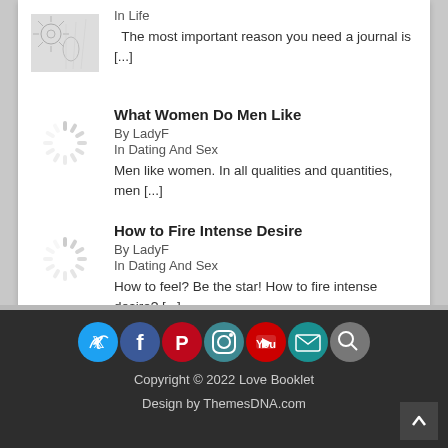In Life  The most important reason you need a journal is [...]
What Women Do Men Like
By LadyF
In Dating And Sex
Men like women. In all qualities and quantities, men [...]
How to Fire Intense Desire
By LadyF
In Dating And Sex
How to feel? Be the star! How to fire intense desire? [...]
[Figure (infographic): Social media icon buttons: Twitter (blue), Facebook (dark blue), Pinterest (red), Instagram (teal), YouTube (red), Email (teal), Search (grey)]
Copyright © 2022 Love Booklet
Design by ThemesDNA.com